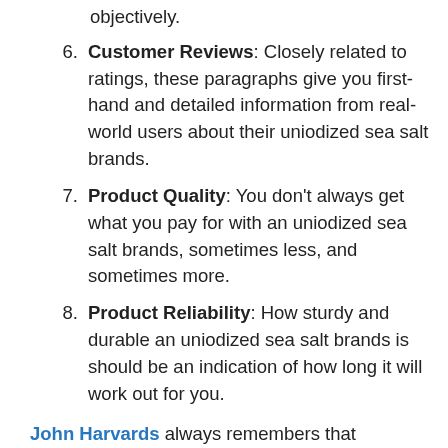objectively.
6. Customer Reviews: Closely related to ratings, these paragraphs give you first-hand and detailed information from real-world users about their uniodized sea salt brands.
7. Product Quality: You don't always get what you pay for with an uniodized sea salt brands, sometimes less, and sometimes more.
8. Product Reliability: How sturdy and durable an uniodized sea salt brands is should be an indication of how long it will work out for you.
John Harvards always remembers that maintaining uniodized sea salt brands information to stay current is a top priority,